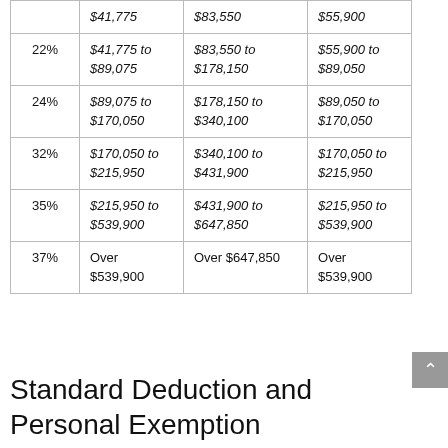| Rate | Single | Married Filing Jointly | Head of Household |
| --- | --- | --- | --- |
|  | $41,775 | $83,550 | $55,900 |
| 22% | $41,775 to $89,075 | $83,550 to $178,150 | $55,900 to $89,050 |
| 24% | $89,075 to $170,050 | $178,150 to $340,100 | $89,050 to $170,050 |
| 32% | $170,050 to $215,950 | $340,100 to $431,900 | $170,050 to $215,950 |
| 35% | $215,950 to $539,900 | $431,900 to $647,850 | $215,950 to $539,900 |
| 37% | Over $539,900 | Over $647,850 | Over $539,900 |
Standard Deduction and Personal Exemption